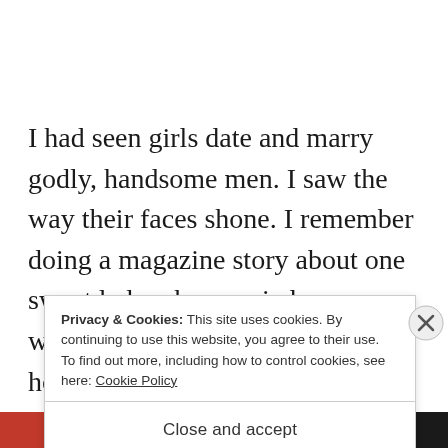I had seen girls date and marry godly, handsome men. I saw the way their faces shone. I remember doing a magazine story about one sweet lady who married a man who treasured her. I sat in the home he built for them, a home that smelled
Privacy & Cookies: This site uses cookies. By continuing to use this website, you agree to their use. To find out more, including how to control cookies, see here: Cookie Policy
Close and accept